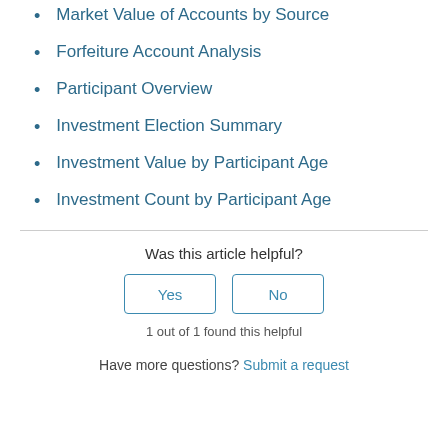Market Value of Accounts by Source
Forfeiture Account Analysis
Participant Overview
Investment Election Summary
Investment Value by Participant Age
Investment Count by Participant Age
Was this article helpful?
Yes
No
1 out of 1 found this helpful
Have more questions? Submit a request